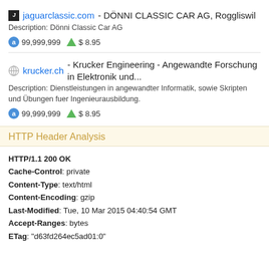jaguarclassic.com - DÖNNI CLASSIC CAR AG, Roggliswil
Description: Dönni Classic Car AG
99,999,999   $ 8.95
krucker.ch - Krucker Engineering - Angewandte Forschung in Elektronik und...
Description: Dienstleistungen in angewandter Informatik, sowie Skripten und Übungen fuer Ingenieurausbildung.
99,999,999   $ 8.95
HTTP Header Analysis
HTTP/1.1 200 OK
Cache-Control: private
Content-Type: text/html
Content-Encoding: gzip
Last-Modified: Tue, 10 Mar 2015 04:40:54 GMT
Accept-Ranges: bytes
ETag: "d63fd264ec5ad01:0"